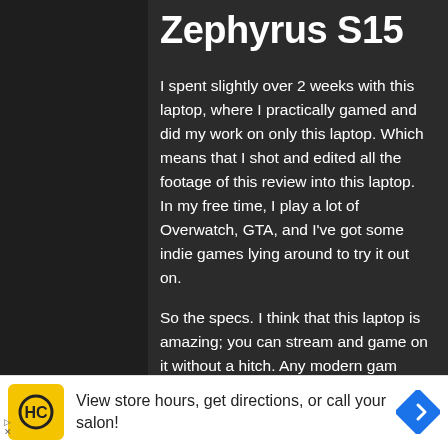Zephyrus S15
I spent slightly over 2 weeks with this laptop, where I practically gamed and did my work on only this laptop. Which means that I shot and edited all the footage of this review into this laptop. In my free time, I play a lot of Overwatch, GTA, and I've got some indie games lying around to try it out on.
So the specs. I think that this laptop is amazing; you can stream and game on it without a hitch. Any modern gam...
[Figure (screenshot): Advertisement banner with HC salon logo and navigation icon. Text: View store hours, get directions, or call your salon!]